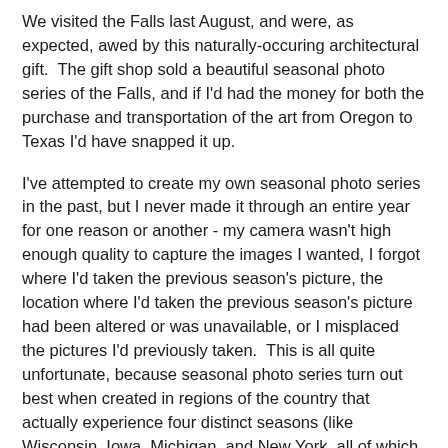We visited the Falls last August, and were, as expected, awed by this naturally-occuring architectural gift.  The gift shop sold a beautiful seasonal photo series of the Falls, and if I'd had the money for both the purchase and transportation of the art from Oregon to Texas I'd have snapped it up.
I've attempted to create my own seasonal photo series in the past, but I never made it through an entire year for one reason or another - my camera wasn't high enough quality to capture the images I wanted, I forgot where I'd taken the previous season's picture, the location where I'd taken the previous season's picture had been altered or was unavailable, or I misplaced the pictures I'd previously taken.  This is all quite unfortunate, because seasonal photo series turn out best when created in regions of the country that actually experience four distinct seasons (like Wisconsin, Iowa, Michigan, and New York, all of which I've called home) and not in Texas, where there are only two seasons.  In case you're wondering, the two seasons in Texas are "Mild Enough to Wear Pants" and "Hot Enough to Fry Eggs on the Pavement".